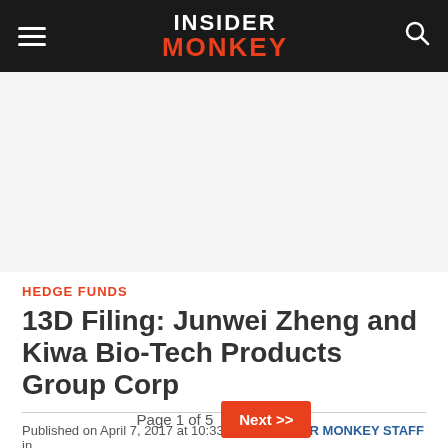INSIDER MONKEY
[Figure (other): Advertisement placeholder area (white/light gray background)]
HEDGE FUNDS
13D Filing: Junwei Zheng and Kiwa Bio-Tech Products Group Corp
Published on April 7, 2017 at 10:33 pm by INSIDER MONKEY STAFF in Hedge Funds
Page 1 of 5  Next >>